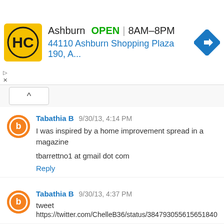[Figure (screenshot): Ad banner: HC logo, Ashburn OPEN 8AM-8PM, 44110 Ashburn Shopping Plaza 190, A..., blue navigation arrow icon]
Tabathia B 9/30/13, 4:14 PM
I was inspired by a home improvement spread in a magazine

tbarrettno1 at gmail dot com
Reply
Tabathia B 9/30/13, 4:37 PM
tweet
https://twitter.com/ChelleB36/status/384793055615651840